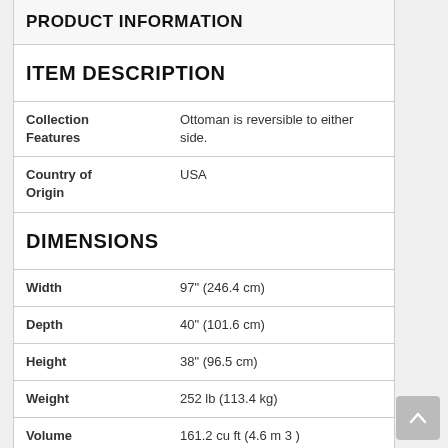PRODUCT INFORMATION
ITEM DESCRIPTION
|  |  |
| --- | --- |
| Collection Features | Ottoman is reversible to either side. |
| Country of Origin | USA |
DIMENSIONS
|  |  |
| --- | --- |
| Width | 97" (246.4 cm) |
| Depth | 40" (101.6 cm) |
| Height | 38" (96.5 cm) |
| Weight | 252 lb (113.4 kg) |
| Volume | 161.2 cu ft (4.6 m 3 ) |
| Arm Height | 24" (61 cm) |